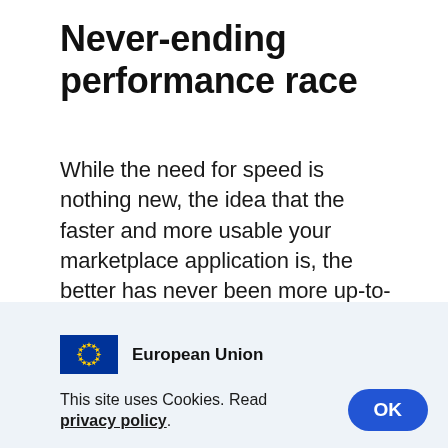Never-ending performance race
While the need for speed is nothing new, the idea that the faster and more usable your marketplace application is, the better has never been more up-to-date.
At The Software House, we have always strived to achieve these
[Figure (logo): European Union flag logo with circle of yellow stars on blue background, next to text 'European Union']
This site uses Cookies. Read privacy policy.